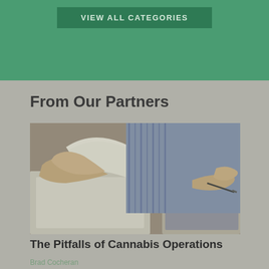[Figure (other): Green banner with 'VIEW ALL CATEGORIES' button]
From Our Partners
[Figure (photo): Person at desk reviewing documents and writing with a pen, business/office setting]
The Pitfalls of Cannabis Operations
Brad Cocheran